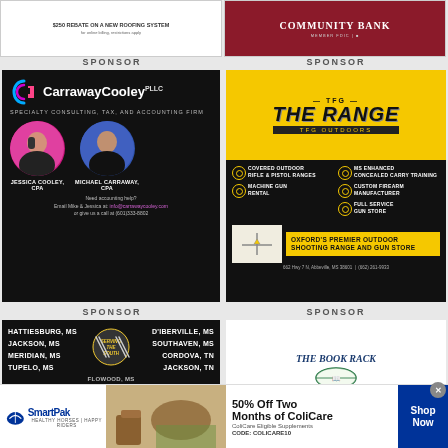[Figure (photo): Top left sponsor ad - roofing system advertisement with house image]
[Figure (logo): Top right sponsor ad - Community Bank logo on dark red background]
SPONSOR
SPONSOR
[Figure (photo): Carraway Cooley PLLC - Specialty Consulting, Tax, and Accounting Firm ad with Jessica Cooley CPA and Michael Carraway CPA]
[Figure (photo): The Range TFG Outdoors - Covered Outdoor Rifle & Pistol Ranges, MS Enhanced Concealed Carry Training, Machine Gun Rental, Custom Firearm Manufacturer, Full Service Gun Store]
SPONSOR
SPONSOR
[Figure (photo): Serving The South - restaurant locations in Hattiesburg MS, Jackson MS, Meridian MS, Tupelo MS, D'Iberville MS, Southaven MS, Cordova TN, Flowood MS, Jackson TN]
[Figure (photo): The Book Rack - Read Books Drink Coffee advertisement]
[Figure (advertisement): SmartPak banner ad - 50% Off Two Months of ColiCare, ColiCare Eligible Supplements, CODE: COLICARE10, Shop Now]